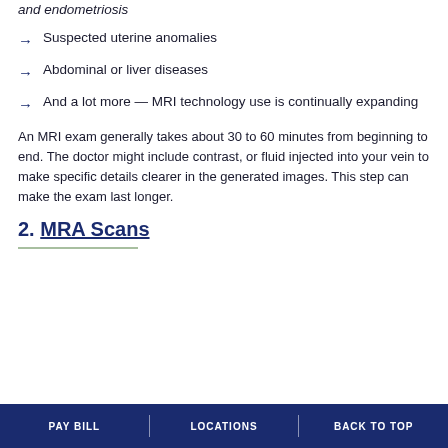and endometriosis
Suspected uterine anomalies
Abdominal or liver diseases
And a lot more — MRI technology use is continually expanding
An MRI exam generally takes about 30 to 60 minutes from beginning to end. The doctor might include contrast, or fluid injected into your vein to make specific details clearer in the generated images. This step can make the exam last longer.
2. MRA Scans
PAY BILL | LOCATIONS | BACK TO TOP